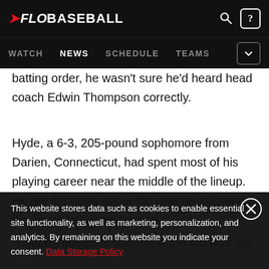FLOBASEBALL | WATCH | NEWS | SCHEDULE | TEAMS
batting order, he wasn't sure he'd heard head coach Edwin Thompson correctly.
Hyde, a 6-3, 205-pound sophomore from Darien, Connecticut, had spent most of his playing career near the middle of the lineup. He got the news about the change following the first week of the season.
“Coach Thompson told me in the lobby of the hotel we
This website stores data such as cookies to enable essential site functionality, as well as marketing, personalization, and analytics. By remaining on this website you indicate your consent. Data Storage Policy